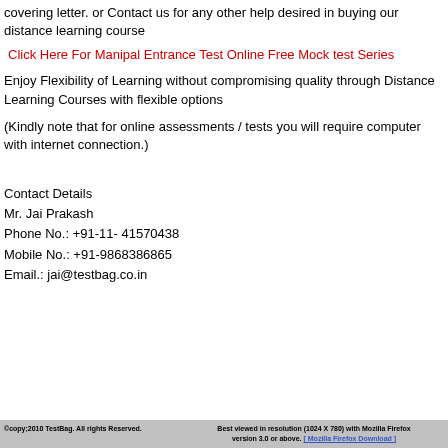covering letter. or Contact us for any other help desired in buying our distance learning course
Click Here For Manipal Entrance Test Online Free Mock test Series
Enjoy Flexibility of Learning without compromising quality through Distance Learning Courses with flexible options
(Kindly note that for online assessments / tests you will require computer with internet connection.)
Contact Details
Mr. Jai Prakash
Phone No.: +91-11- 41570438
Mobile No.: +91-9868386865
Email.: jai@testbag.co.in
©copy;2010 TestBag. All rights Best viewed in resolution (1024 X 780) with Mozilla Firefox version 3.0 or Reserved. above. [ Mozilla Firefox Download ]